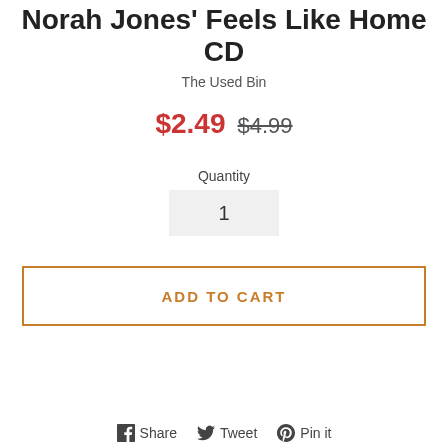Norah Jones' Feels Like Home CD
The Used Bin
$2.49  $4.99
Quantity
1
ADD TO CART
Share  Tweet  Pin it